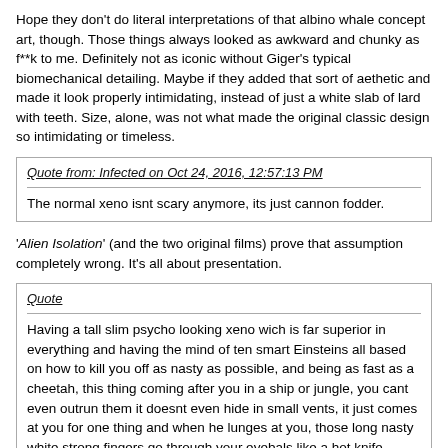Hope they don't do literal interpretations of that albino whale concept art, though. Those things always looked as awkward and chunky as f**k to me. Definitely not as iconic without Giger's typical biomechanical detailing. Maybe if they added that sort of aethetic and made it look properly intimidating, instead of just a white slab of lard with teeth. Size, alone, was not what made the original classic design so intimidating or timeless.
Quote from: Infected on Oct 24, 2016, 12:57:13 PM
The normal xeno isnt scary anymore, its just cannon fodder.
'Alien Isolation' (and the two original films) prove that assumption completely wrong. It's all about presentation.
Quote
Having a tall slim psycho looking xeno wich is far superior in everything and having the mind of ten smart Einsteins all based on how to kill you off as nasty as possible, and being as fast as a cheetah, this thing coming after you in a ship or jungle, you cant even outrun them it doesnt even hide in small vents, it just comes at you for one thing and when he lunges at you, those long nasty white strong fingers go through your eyebals like a hot knife throug a small newborn baby. (was that over the top? i never can tell ;)
But... That's practically what the normal Alien design already does.